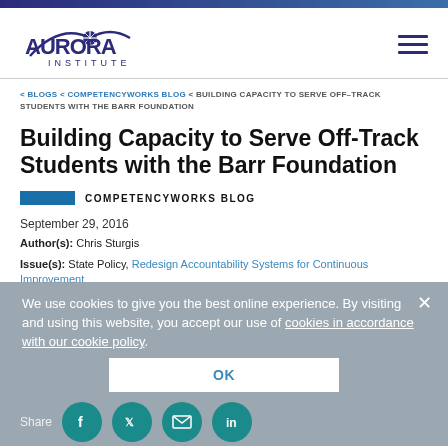[Figure (logo): Aurora Institute logo with stylized mountain/arc and star graphic above the text AURORA INSTITUTE]
Aurora Institute - navigation header with hamburger menu
< BLOGS < COMPETENCYWORKS BLOG < BUILDING CAPACITY TO SERVE OFF-TRACK STUDENTS WITH THE BARR FOUNDATION
Building Capacity to Serve Off-Track Students with the Barr Foundation
COMPETENCYWORKS BLOG
September 29, 2016
Author(s): Chris Sturgis
Issue(s): State Policy, Redesign Accountability Systems for Continuous Improvement
We use cookies to give you the best online experience. By visiting and using this website, you accept our use of cookies in accordance with our cookie policy.
OK
Share